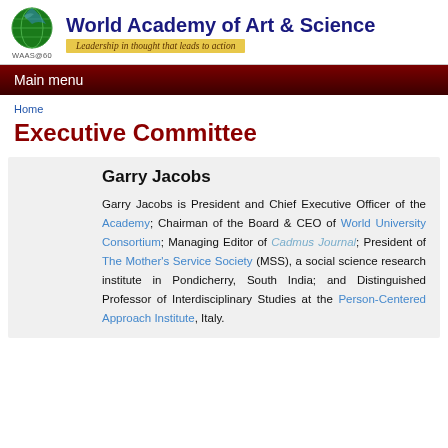World Academy of Art & Science — Leadership in thought that leads to action
Main menu
Home
Executive Committee
Garry Jacobs
Garry Jacobs is President and Chief Executive Officer of the Academy; Chairman of the Board & CEO of World University Consortium; Managing Editor of Cadmus Journal; President of The Mother's Service Society (MSS), a social science research institute in Pondicherry, South India; and Distinguished Professor of Interdisciplinary Studies at the Person-Centered Approach Institute, Italy.